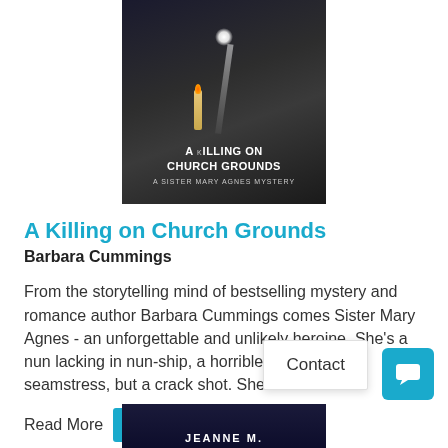[Figure (photo): Book cover of 'A Killing on Church Grounds - A Sister Mary Agnes Mystery' with dark atmospheric background, a light beam and candle.]
A Killing on Church Grounds
Barbara Cummings
From the storytelling mind of bestselling mystery and romance author Barbara Cummings comes Sister Mary Agnes - an unforgettable and unlikely heroine. She's a nun lacking in nun-ship, a horrible cook, a worse seamstress, but a crack shot. She
Read More    View in Catalog
Contact
[Figure (photo): Partial book cover at bottom with dark blue background and text 'JEANNE M.']